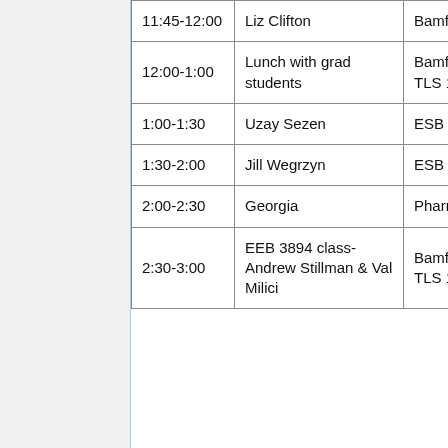| Time | Event | Location |
| --- | --- | --- |
| 11:45-12:00 | Liz Clifton | Bamford? |
| 12:00-1:00 | Lunch with grad students | Bamford Room, TLS 171 |
| 1:00-1:30 | Uzay Sezen | ESB 306C |
| 1:30-2:00 | Jill Wegrzyn | ESB 306C |
| 2:00-2:30 | Georgia | Pharm/Bio 217 |
| 2:30-3:00 | EEB 3894 class- Andrew Stillman & Val Milici | Bamford Room, TLS 171 |